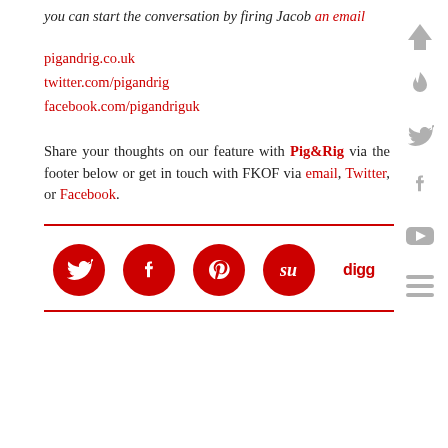you can start the conversation by firing Jacob an email
pigandrig.co.uk
twitter.com/pigandrig
facebook.com/pigandriguk
Share your thoughts on our feature with Pig&Rig via the footer below or get in touch with FKOF via email, Twitter, or Facebook.
[Figure (infographic): Social share icons row: Twitter, Facebook, Pinterest, StumbleUpon, Digg — all in red circles except Digg which is red text]
[Figure (infographic): Sidebar with vertical social/navigation icons in grey: up arrow, flame, Twitter bird, Facebook f, YouTube play button, hamburger menu]